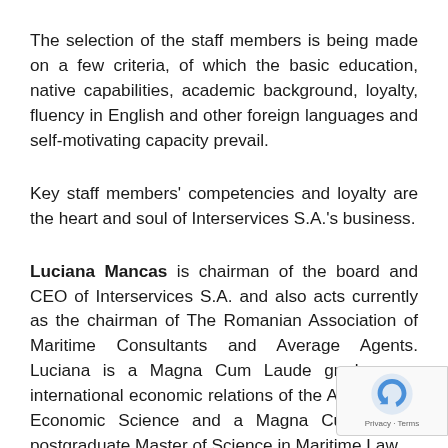The selection of the staff members is being made on a few criteria, of which the basic education, native capabilities, academic background, loyalty, fluency in English and other foreign languages and self-motivating capacity prevail.
Key staff members' competencies and loyalty are the heart and soul of Interservices S.A.'s business.
Luciana Mancas is chairman of the board and CEO of Interservices S.A. and also acts currently as the chairman of The Romanian Association of Maritime Consultants and Average Agents. Luciana is a Magna Cum Laude graduate in international economic relations of the Academy of Economic Science and a Magna Cum Laude postgraduate Master of Science in Maritime Law...